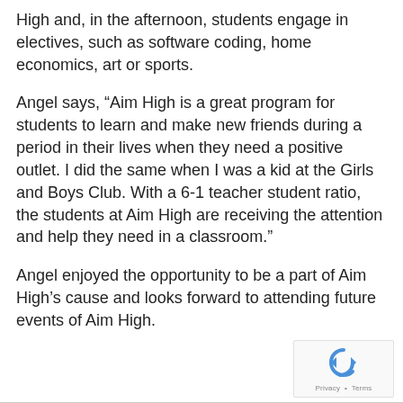High and, in the afternoon, students engage in electives, such as software coding, home economics, art or sports.
Angel says, “Aim High is a great program for students to learn and make new friends during a period in their lives when they need a positive outlet. I did the same when I was a kid at the Girls and Boys Club. With a 6-1 teacher student ratio, the students at Aim High are receiving the attention and help they need in a classroom.”
Angel enjoyed the opportunity to be a part of Aim High’s cause and looks forward to attending future events of Aim High.